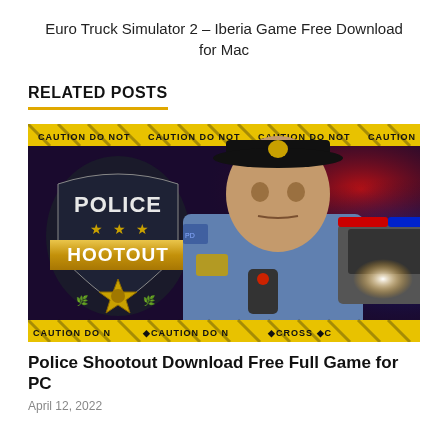Euro Truck Simulator 2 – Iberia Game Free Download for Mac
RELATED POSTS
[Figure (photo): Police Shootout video game promotional image showing a 3D-rendered police officer character in uniform with a badge and radio, standing in front of a police car with red and blue lights. A Police Shootout logo with stars is visible on the left. Yellow caution tape borders the top and bottom of the image.]
Police Shootout Download Free Full Game for PC
April 12, 2022